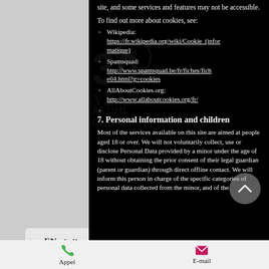site, and some services and features may not be accessible.
To find out more about cookies, see:
Wikipedia: https://fr.wikipedia.org/wiki/Cookie_(informatique)
Spamsquad: http://www.spamsquad.be/fr/fiches/fiche04.html?g=cookies
AllAboutCookies.org: http://www.allaboutcookies.org/fr/
7. Personal information and children
Most of the services available on this site are aimed at people aged 18 or over. We will not voluntarily collect, use or disclose Personal Data provided by a minor under the age of 18 without obtaining the prior consent of their legal guardian (parent or guardian) through direct offline contact. We will inform this person in charge of the specific categories of personal data collected from the minor, and of the
Appel    E-mail